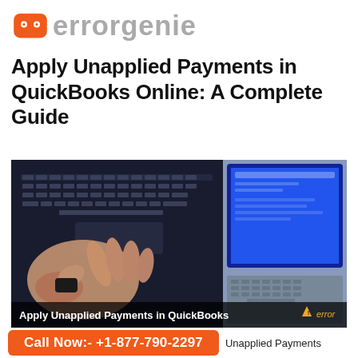errorgenie (logo)
Apply Unapplied Payments in QuickBooks Online: A Complete Guide
[Figure (photo): Person typing on a laptop keyboard with another laptop in the background showing a blue screen; overlay text reads 'Apply Unapplied Payments in QuickBooks' with an error warning badge]
Call Now:- +1-877-790-2297  Unapplied Payments